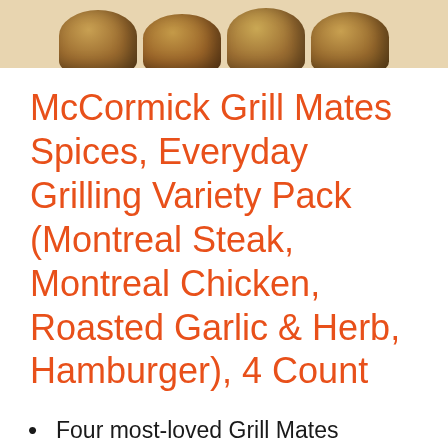[Figure (photo): Partial view of four McCormick Grill Mates spice jar lids/tops arranged in a row, cropped at top of page]
McCormick Grill Mates Spices, Everyday Grilling Variety Pack (Montreal Steak, Montreal Chicken, Roasted Garlic & Herb, Hamburger), 4 Count
Four most-loved Grill Mates Seasonings together in one set
Easily add bold flavor to steaks,